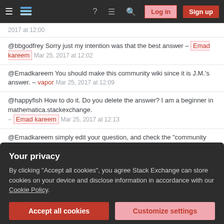Stack Exchange navigation bar with Log in and Sign up buttons
2017 at 12:00
@bbgodfrey Sorry just my intention was that the best answer – Emad kareem Mar 25, 2017 at 12:02
@Emadkareem You should make this community wiki since it is J.M.'s answer. – vapor Mar 25, 2017 at 12:09
@happyfish How to do it. Do you delete the answer? I am a beginner in mathematica.stackexchange. – Emad kareem Mar 25, 2017 at 12:13
@Emadkareem simply edit your question, and check the "community wiki" box in this position – vapor Mar 25, 2017 at 12:16
Your privacy
By clicking "Accept all cookies", you agree Stack Exchange can store cookies on your device and disclose information in accordance with our Cookie Policy.